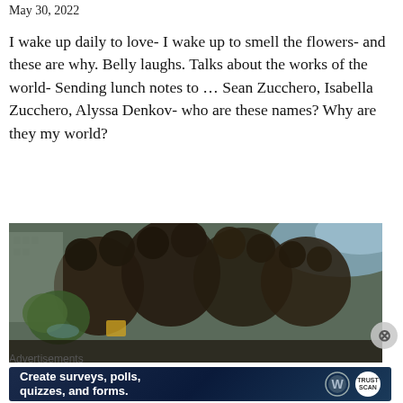May 30, 2022
I wake up daily to love- I wake up to smell the flowers- and these are why. Belly laughs. Talks about the works of the world- Sending lunch notes to … Sean Zucchero, Isabella Zucchero, Alyssa Denkov- who are these names? Why are they my world?
[Figure (photo): Outdoor photo of a large metallic sculpture with spherical elements, viewed from below, with trees, buildings, and bright sky visible in the background]
Advertisements
Create surveys, polls, quizzes, and forms.